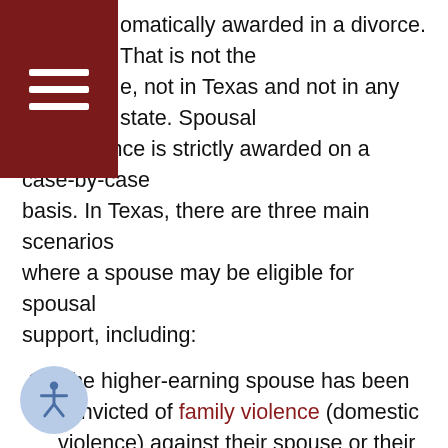omatically awarded in a divorce. That is not the case, not in Texas and not in any state. Spousal maintenance is strictly awarded on a case-by-case basis. In Texas, there are three main scenarios where a spouse may be eligible for spousal support, including:
The higher-earning spouse has been convicted of family violence (domestic violence) against their spouse or their child in the previous two years or while the divorce is still pending;
The marriage lasted at least 10 years and the lower-earning spouse cannot afford to be self-supporting AND he or she is disabled, caring for a disabled child, or they lack the earning